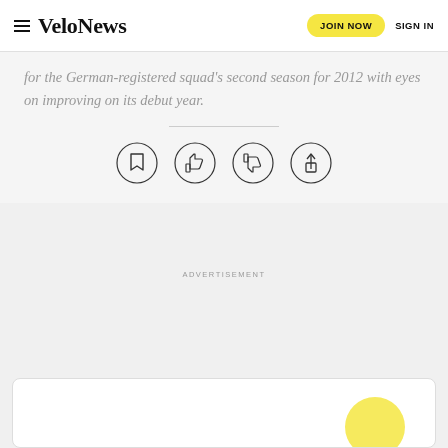VeloNews | JOIN NOW | SIGN IN
for the German-registered squad's second season for 2012 with eyes on improving on its debut year.
[Figure (other): Four circular action buttons: bookmark, thumbs up, thumbs down, share]
ADVERTISEMENT
[Figure (other): Bottom content card with yellow graphic element visible at bottom right]